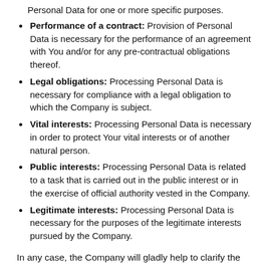Personal Data for one or more specific purposes.
Performance of a contract: Provision of Personal Data is necessary for the performance of an agreement with You and/or for any pre-contractual obligations thereof.
Legal obligations: Processing Personal Data is necessary for compliance with a legal obligation to which the Company is subject.
Vital interests: Processing Personal Data is necessary in order to protect Your vital interests or of another natural person.
Public interests: Processing Personal Data is related to a task that is carried out in the public interest or in the exercise of official authority vested in the Company.
Legitimate interests: Processing Personal Data is necessary for the purposes of the legitimate interests pursued by the Company.
In any case, the Company will gladly help to clarify the specific legal basis that applies to the processing, and in particular whether the provision of Personal Data is a statutory or contractual requirement, or a requirement necessary to enter into a contract.